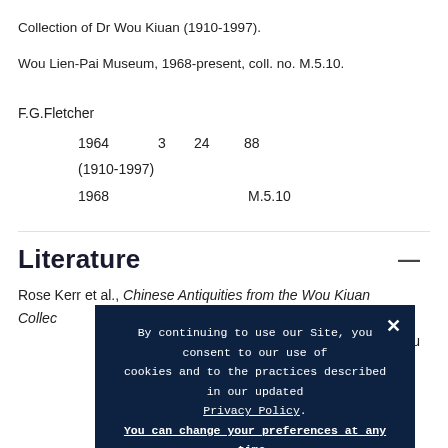Collection of Dr Wou Kiuan (1910-1997).
Wou Lien-Pai Museum, 1968-present, coll. no. M.5.10.
F.G.Fletcher
1964  3  24       88
(1910-1997)
1968          M.5.10
Literature
Rose Kerr et al., Chinese Antiquities from the Wou Kiuan
Collec[tion...]
Wou
By continuing to use our Site, you consent to our use of cookies and to the practices described in our updated Privacy Policy. You can change your preferences at any time.